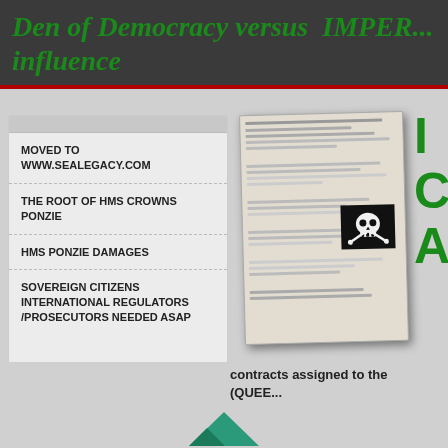Den of Democracy versus  IMPER... influence
MOVED TO WWW.SEALEGACY.COM
THE ROOT OF HMS CROWNS PONZIE
HMS PONZIE DAMAGES
SOVEREIGN CITIZENS INTERNATIONAL REGULATORS /PROSECUTORS NEEDED ASAP
[Figure (photo): Document with pirate skull-and-crossbones badge overlaid, appearing as an official form or contract, partially visible with green text IN C A to the right]
contracts assigned to the (QUEE...